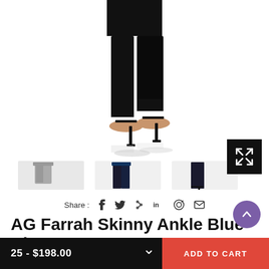[Figure (photo): E-commerce product page screenshot showing AG Farrah Skinny Ankle jeans. Main image shows lower legs of a person wearing black skinny jeans with black strappy heels. Below are three thumbnail images: one showing gray jeans, one showing dark navy jeans front view, and one showing dark navy jeans side view.]
Share : f  t  P  in  ⊙  ✉
AG Farrah Skinny Ankle Blue Above
25 - $198.00
ADD TO CART